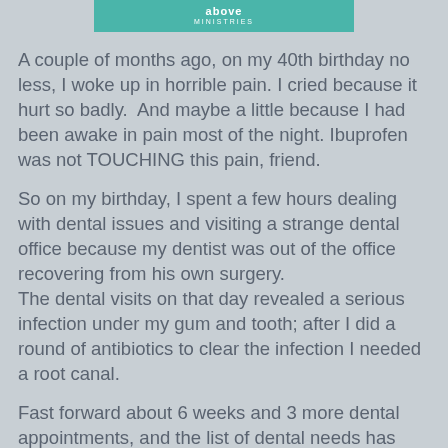[Figure (logo): Above Ministries logo banner in teal/green color]
A couple of months ago, on my 40th birthday no less, I woke up in horrible pain. I cried because it hurt so badly.  And maybe a little because I had been awake in pain most of the night. Ibuprofen was not TOUCHING this pain, friend.
So on my birthday, I spent a few hours dealing with dental issues and visiting a strange dental office because my dentist was out of the office recovering from his own surgery.
The dental visits on that day revealed a serious infection under my gum and tooth; after I did a round of antibiotics to clear the infection I needed a root canal.
Fast forward about 6 weeks and 3 more dental appointments, and the list of dental needs has grown: